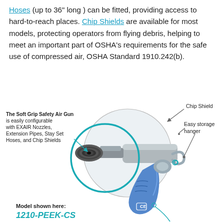Hoses (up to 36" long ) can be fitted, providing access to hard-to-reach places. Chip Shields are available for most models, protecting operators from flying debris, helping to meet an important part of OSHA's requirements for the safe use of compressed air, OSHA Standard 1910.242(b).
[Figure (illustration): Diagram of a Soft Grip Safety Air Gun (model 1210-PEEK-CS) with annotated parts including a PEEK nozzle highlighted in a teal circle, a circular chip shield, and a blue gun handle. Labels point to: nozzle area (The Soft Grip Safety Air Gun is easily configurable with EXAIR Nozzles, Extension Pipes, Stay Set Hoses, and Chip Shields), Chip Shield (top right), Easy storage hanger (right side). Caption at bottom left: Model shown here: 1210-PEEK-CS.]